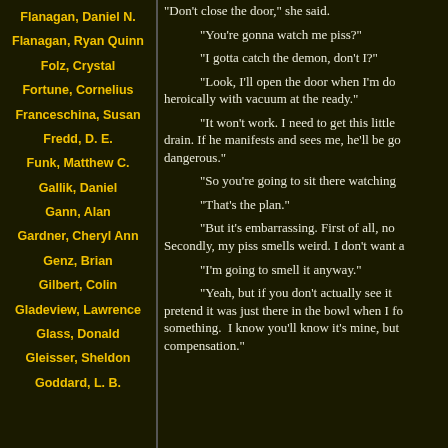Flanagan, Daniel N.
Flanagan, Ryan Quinn
Folz, Crystal
Fortune, Cornelius
Franceschina, Susan
Fredd, D. E.
Funk, Matthew C.
Gallik, Daniel
Gann, Alan
Gardner, Cheryl Ann
Genz, Brian
Gilbert, Colin
Gladeview, Lawrence
Glass, Donald
Gleisser, Sheldon
Goddard, L. B.
"Don't close the door," she said.
"You're gonna watch me piss?"
"I gotta catch the demon, don't I?"
"Look, I'll open the door when I'm do... heroically with vacuum at the ready."
"It won't work. I need to get this little drain. If he manifests and sees me, he'll be go... dangerous."
"So you're going to sit there watching..."
"That's the plan."
"But it's embarrassing. First of all, no... Secondly, my piss smells weird. I don't want a..."
"I'm going to smell it anyway."
"Yeah, but if you don't actually see it... pretend it was just there in the bowl when I fo... something. I know you'll know it's mine, but... compensation."